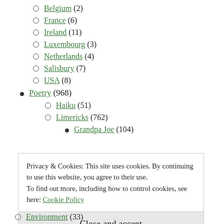Belgium (2)
France (6)
Ireland (11)
Luxembourg (3)
Netherlands (4)
Salisbury (7)
USA (8)
Poetry (968)
Haiku (51)
Limericks (762)
Grandpa Joe (104)
Privacy & Cookies: This site uses cookies. By continuing to use this website, you agree to their use.
To find out more, including how to control cookies, see here: Cookie Policy
Close and accept
Environment (33)